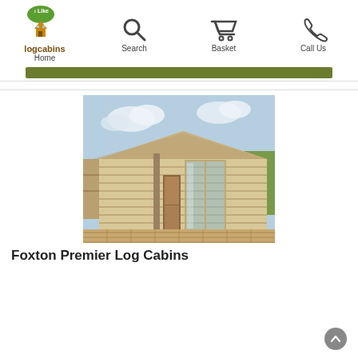iLike logcabins — Home | Search | Basket | Call Us
[Figure (photo): A large wooden log cabin with a pitched roof, horizontal log walls, and glass sliding doors, situated on a wooden deck with a fence in the background and blue sky above.]
Foxton Premier Log Cabins